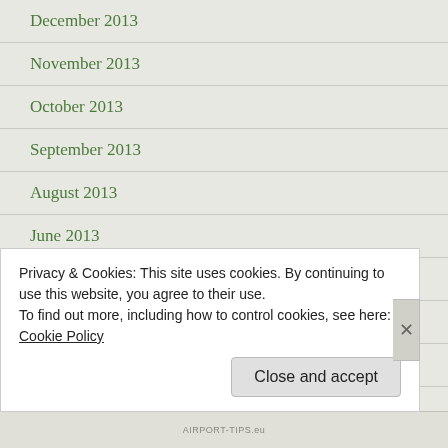December 2013
November 2013
October 2013
September 2013
August 2013
June 2013
May 2013
April 2013
March 2013
December 2012
Privacy & Cookies: This site uses cookies. By continuing to use this website, you agree to their use.
To find out more, including how to control cookies, see here: Cookie Policy
AIRPORT-TIPS.eu